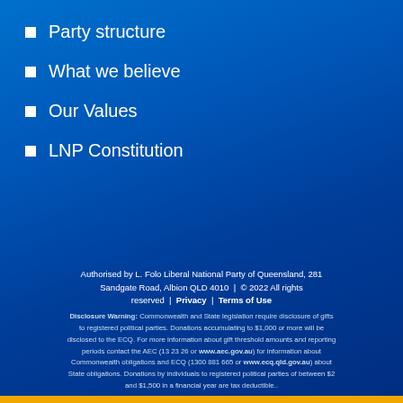Party structure
What we believe
Our Values
LNP Constitution
Authorised by L. Folo Liberal National Party of Queensland, 281 Sandgate Road, Albion QLD 4010 | © 2022 All rights reserved | Privacy | Terms of Use
Disclosure Warning: Commonwealth and State legislation require disclosure of gifts to registered political parties. Donations accumulating to $1,000 or more will be disclosed to the ECQ. For more information about gift threshold amounts and reporting periods contact the AEC (13 23 26 or www.aec.gov.au) for information about Commonwealth obligations and ECQ (1300 881 665 or www.ecq.qld.gov.au) about State obligations. Donations by individuals to registered political parties of between $2 and $1,500 in a financial year are tax deductible..